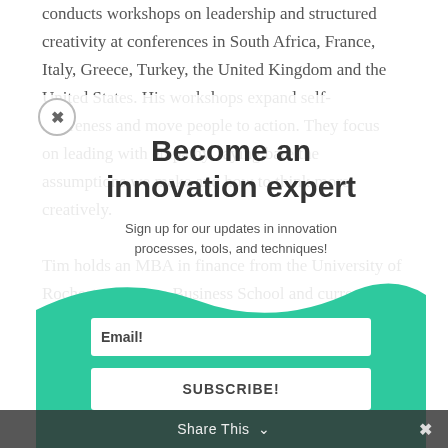conducts workshops on leadership and structured creativity at conferences in South Africa, France, Italy, Greece, Turkey, the United Kingdom and the United States. His workshops expand self-awareness and move people to action. They focus on leading with empathy, laying bare the assumptions we make and how to think more creatively.
Tim holds an MBA in finance from the University of Rochester's Simon Business School and currently serves on the faculty at the Center for Culturally Responsive Evaluation and Assessment (CREA) Conference in Europe and at the Creative Problem Solving Institute (CPSI) in the US. He lives in Barcelona, Spain with his partner and their two daughters, whose interaction with their father led to...
Become an innovation expert
Sign up for our updates in innovation processes, tools, and techniques!
Email!
SUBSCRIBE!
Share This